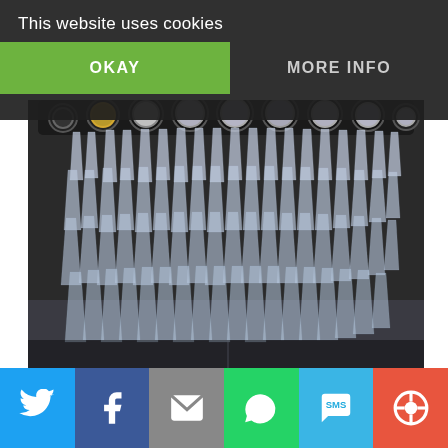This website uses cookies
OKAY
MORE INFO
[Figure (photo): A crystal chandelier with multiple tiers of hanging crystal pendants and decorative rings at the top, photographed from below against a dark background.]
[Figure (infographic): Social media sharing bar with icons for Twitter, Facebook, Email, WhatsApp, SMS, and a circular share icon on colored backgrounds.]